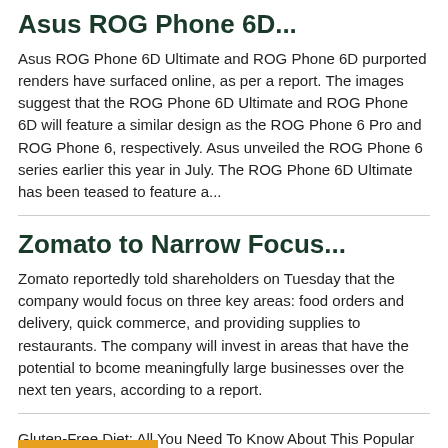Asus ROG Phone 6D...
Asus ROG Phone 6D Ultimate and ROG Phone 6D purported renders have surfaced online, as per a report. The images suggest that the ROG Phone 6D Ultimate and ROG Phone 6D will feature a similar design as the ROG Phone 6 Pro and ROG Phone 6, respectively. Asus unveiled the ROG Phone 6 series earlier this year in July. The ROG Phone 6D Ultimate has been teased to feature a...
Zomato to Narrow Focus...
Zomato reportedly told shareholders on Tuesday that the company would focus on three key areas: food orders and delivery, quick commerce, and providing supplies to restaurants. The company will invest in areas that have the potential to bcome meaningfully large businesses over the next ten years, according to a report.
Gluten-Free Diet: All You Need To Know About This Popular Health Trend